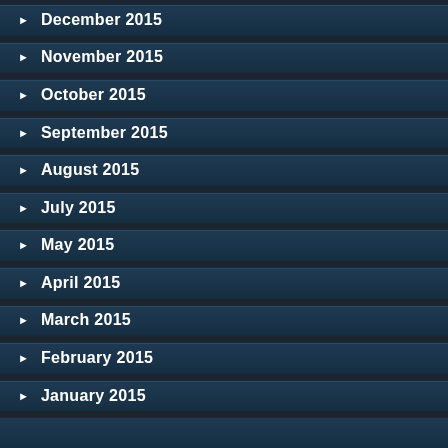December 2015
November 2015
October 2015
September 2015
August 2015
July 2015
May 2015
April 2015
March 2015
February 2015
January 2015